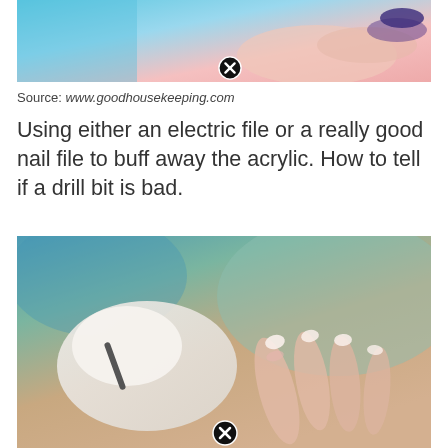[Figure (photo): Close-up of hands with acrylic nails being worked on, with pink and blue background. A close button (X icon) overlaid at bottom center.]
Source: www.goodhousekeeping.com
Using either an electric file or a really good nail file to buff away the acrylic. How to tell if a drill bit is bad.
[Figure (photo): Photo of a gloved hand using a nail drill or tool on a client's hand with long acrylic nails, against a blue-green blurred background. A close button (X icon) overlaid at bottom center.]